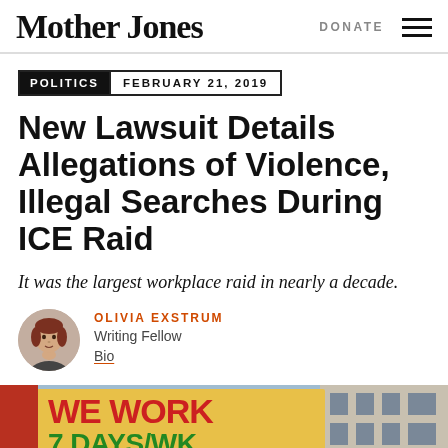Mother Jones  DONATE
POLITICS  FEBRUARY 21, 2019
New Lawsuit Details Allegations of Violence, Illegal Searches During ICE Raid
It was the largest workplace raid in nearly a decade.
OLIVIA EXSTRUM
Writing Fellow
Bio
[Figure (photo): Protest sign reading WE WORK 7 DAYS/WK with partial text visible below, held up outdoors against a building and blue sky background]